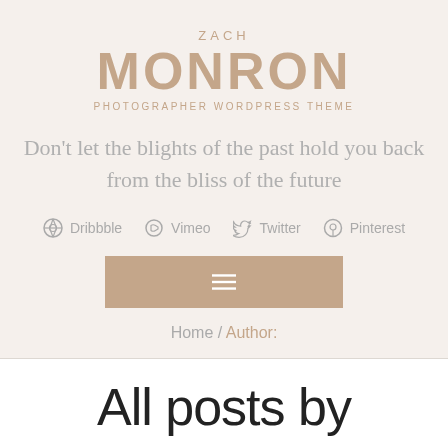ZACH MONRON — PHOTOGRAPHER WORDPRESS THEME
Don&#039;t let the blights of the past hold you back from the bliss of the future
Dribbble  Vimeo  Twitter  Pinterest
[Figure (other): Hamburger menu button in tan/beige color]
Home / Author:
All posts by